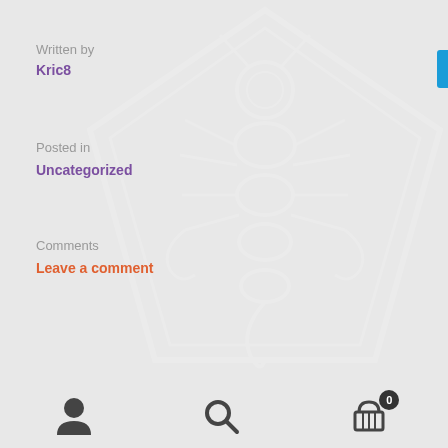Written by
Kric8
Posted in
Uncategorized
Comments
Leave a comment
[Figure (illustration): White insect/scorpion watermark logo on grey background]
[Figure (photo): Black and white close-up photograph of folded newspapers stacked]
User icon | Search icon | Shopping cart icon with badge 0